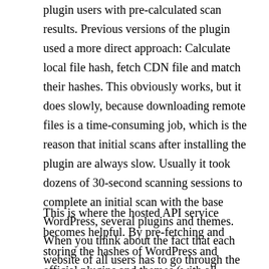plugin users with pre-calculated scan results. Previous versions of the plugin used a more direct approach: Calculate local file hash, fetch CDN file and match their hashes. This obviously works, but it does slowly, because downloading remote files is a time-consuming job, which is the reason that initial scans after installing the plugin are always slow. Usually it took dozens of 30-second scanning sessions to complete an initial scan with the base WordPress, several plugins and themes. When you think about the fact that each website of all users has to go through the same process (there's no import-export feature yet), it makes even less sense.
This is where the hosted API service becomes helpful. By pre-fetching and storing the hashes of WordPress and official plugins and themes (with all versions), and